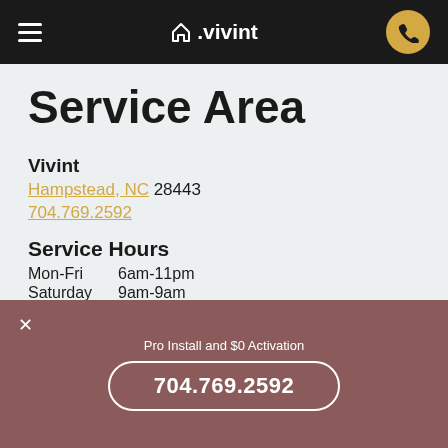vivint
Service Area
Vivint
Hampstead, NC 28443
704.769.2592
Service Hours
Mon-Fri   6am-11pm
Saturday  9am-9am
Sunday    7am-9pm
Pro Install and $0 Activation
704.769.2592